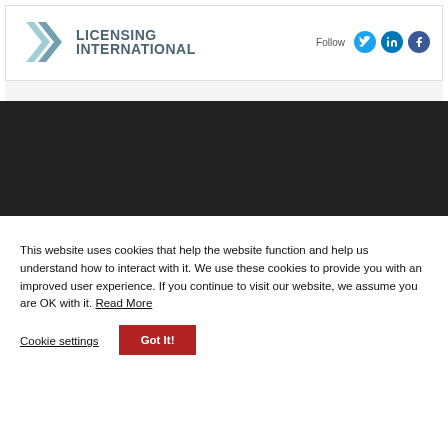[Figure (logo): Licensing International logo with chevron/arrow icon and text 'LICENSING INTERNATIONAL', plus Follow button and social media icons for Twitter, LinkedIn, Facebook]
This website uses cookies that help the website function and help us understand how to interact with it. We use these cookies to provide you with an improved user experience. If you continue to visit our website, we assume you are OK with it. Read More
Cookie settings
Got It!